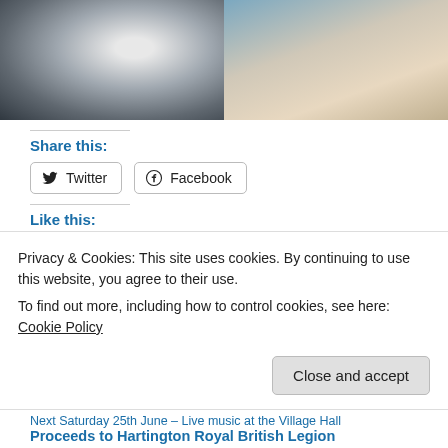[Figure (photo): Two side-by-side photos: left shows a rocky/icy stone surface in black and white, right shows a table spread with food including a Union Jack decorated pie, bowls of food, cakes, doughnuts, with small flag decorations and blue curtain background.]
Share this:
Twitter  Facebook
Like this:
Like
Privacy & Cookies: This site uses cookies. By continuing to use this website, you agree to their use.
To find out more, including how to control cookies, see here: Cookie Policy
Close and accept
Next Saturday 25th June – Live music at the Village Hall
Proceeds to Hartington Royal British Legion